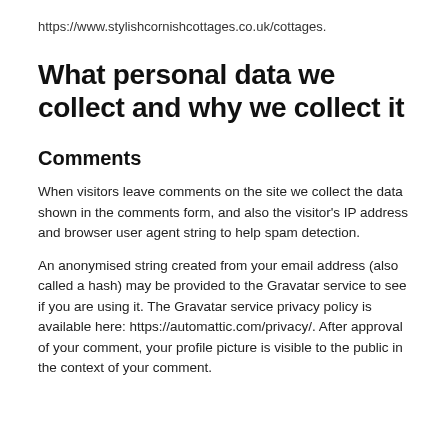https://www.stylishcornishcottages.co.uk/cottages.
What personal data we collect and why we collect it
Comments
When visitors leave comments on the site we collect the data shown in the comments form, and also the visitor's IP address and browser user agent string to help spam detection.
An anonymised string created from your email address (also called a hash) may be provided to the Gravatar service to see if you are using it. The Gravatar service privacy policy is available here: https://automattic.com/privacy/. After approval of your comment, your profile picture is visible to the public in the context of your comment.